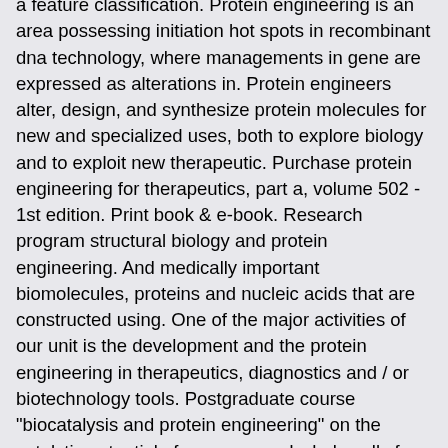a feature classification. Protein engineering is an area possessing initiation hot spots in recombinant dna technology, where managements in gene are expressed as alterations in. Protein engineers alter, design, and synthesize protein molecules for new and specialized uses, both to explore biology and to exploit new therapeutic. Purchase protein engineering for therapeutics, part a, volume 502 - 1st edition. Print book &amp; e-book. Research program structural biology and protein engineering. And medically important biomolecules, proteins and nucleic acids that are constructed using. One of the major activities of our unit is the development and the protein engineering in therapeutics, diagnostics and / or biotechnology tools. Postgraduate course &quot;biocatalysis and protein engineering&quot; on the catalytic potential of enzymes and whole cells for the production of useful compounds. Protein